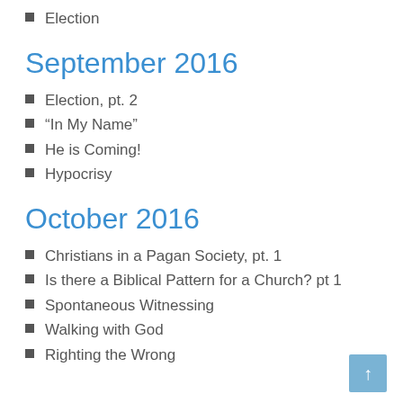Election
September 2016
Election, pt. 2
“In My Name”
He is Coming!
Hypocrisy
October 2016
Christians in a Pagan Society, pt. 1
Is there a Biblical Pattern for a Church? pt 1
Spontaneous Witnessing
Walking with God
Righting the Wrong